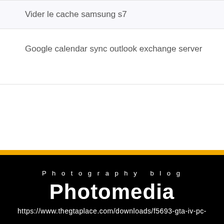Vider le cache samsung s7
Google calendar sync outlook exchange server
Search Here
Photography blog
Photomedia
https://www.thegtaplace.com/downloads/f5693-gta-iv-pc-